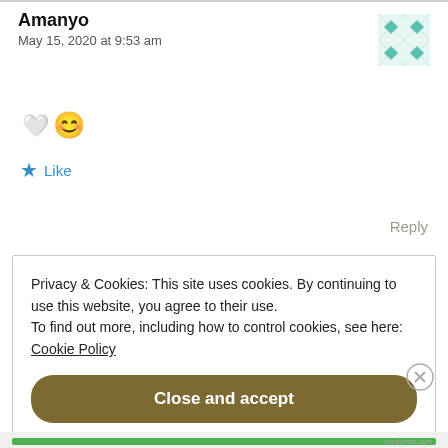Amanyo
May 15, 2020 at 9:53 am
[Figure (illustration): Teal/white geometric quilt-pattern avatar square icon]
🤍😊
★ Like
Reply
Privacy & Cookies: This site uses cookies. By continuing to use this website, you agree to their use.
To find out more, including how to control cookies, see here:
Cookie Policy
Close and accept